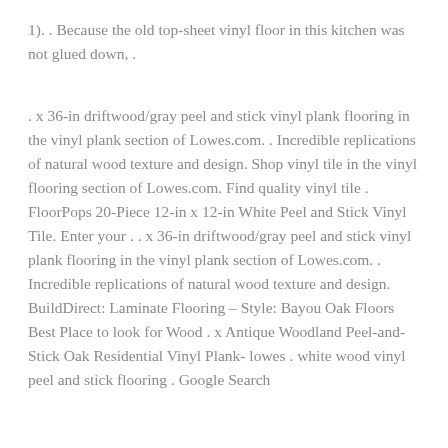1). . Because the old top-sheet vinyl floor in this kitchen was not glued down, .
. x 36-in driftwood/gray peel and stick vinyl plank flooring in the vinyl plank section of Lowes.com. . Incredible replications of natural wood texture and design. Shop vinyl tile in the vinyl flooring section of Lowes.com. Find quality vinyl tile . FloorPops 20-Piece 12-in x 12-in White Peel and Stick Vinyl Tile. Enter your . . x 36-in driftwood/gray peel and stick vinyl plank flooring in the vinyl plank section of Lowes.com. . Incredible replications of natural wood texture and design. BuildDirect: Laminate Flooring – Style: Bayou Oak Floors Best Place to look for Wood . x Antique Woodland Peel-and-Stick Oak Residential Vinyl Plank- lowes . white wood vinyl peel and stick flooring . Google Search